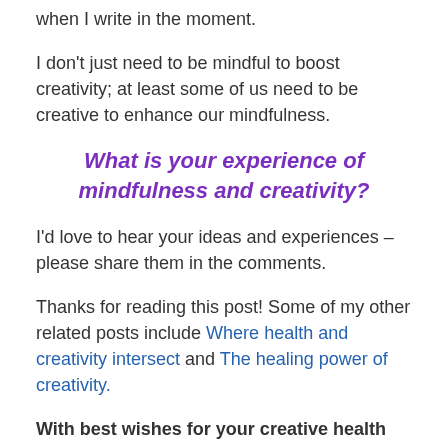when I write in the moment.
I don't just need to be mindful to boost creativity; at least some of us need to be creative to enhance our mindfulness.
What is your experience of mindfulness and creativity?
I'd love to hear your ideas and experiences – please share them in the comments.
Thanks for reading this post! Some of my other related posts include Where health and creativity intersect and The healing power of creativity.
With best wishes for your creative health and that of